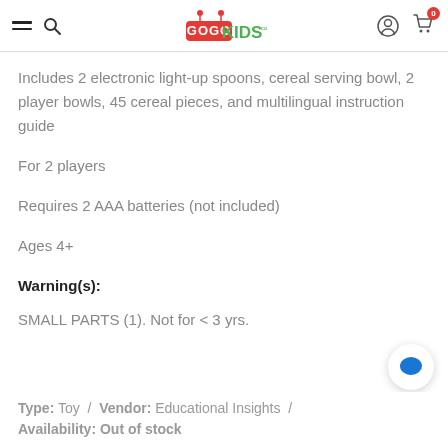GOGO KIDS [logo header with hamburger, search, user, cart icons]
Includes 2 electronic light-up spoons, cereal serving bowl, 2 player bowls, 45 cereal pieces, and multilingual instruction guide
For 2 players
Requires 2 AAA batteries (not included)
Ages 4+
Warning(s):
SMALL PARTS (1). Not for < 3 yrs.
Type: Toy / Vendor: Educational Insights / Availability: Out of stock